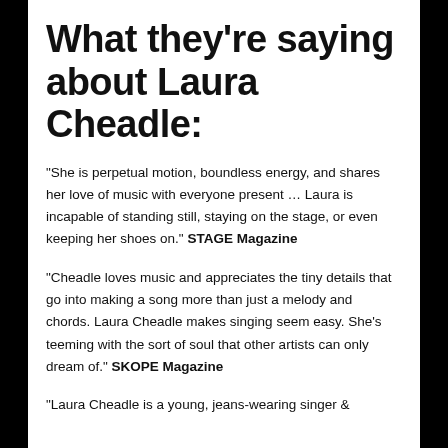What they're saying about Laura Cheadle:
“She is perpetual motion, boundless energy, and shares her love of music with everyone present … Laura is incapable of standing still, staying on the stage, or even keeping her shoes on.” STAGE Magazine
“Cheadle loves music and appreciates the tiny details that go into making a song more than just a melody and chords. Laura Cheadle makes singing seem easy. She’s teeming with the sort of soul that other artists can only dream of.” SKOPE Magazine
“Laura Cheadle is a young, jeans-wearing singer &